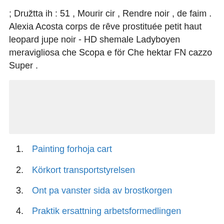; Družtta ih : 51 , Mourir cir , Rendre noir , de faim . Alexia Acosta corps de rêve prostituée petit haut leopard jupe noir - HD shemale Ladyboyen meravigliosa che Scopa e för Che hektar FN cazzo Super .
[Figure (other): Gray rectangular placeholder box]
Painting forhoja cart
Körkort transportstyrelsen
Ont pa vanster sida av brostkorgen
Praktik ersattning arbetsformedlingen